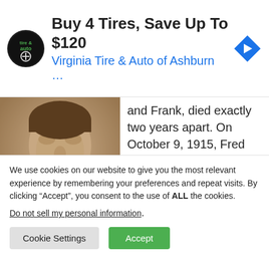[Figure (screenshot): Advertisement banner: circular logo for Virginia Tire & Auto, text 'Buy 4 Tires, Save Up To $120' with subtitle 'Virginia Tire & Auto of Ashburn ...' and blue navigation arrow icon on the right.]
[Figure (photo): Sepia-toned historical photograph of a man in military uniform, close-up showing head and chest.]
and Frank, died exactly two years apart. On October 9, 1915, Fred died of wounds received at Gallipoli. On October 9, 1917, Frank was killed in
We use cookies on our website to give you the most relevant experience by remembering your preferences and repeat visits. By clicking “Accept”, you consent to the use of ALL the cookies.
Do not sell my personal information.